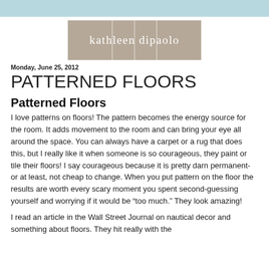[Figure (logo): Kathleen DiPaolo logo — tan/beige rectangle with white vertical dividing lines and white text 'kathleen dipaolo' in serif font]
Monday, June 25, 2012
PATTERNED FLOORS
Patterned Floors
I love patterns on floors!  The pattern becomes the energy source for the room.  It adds movement to the room and can bring your eye all around the space. You can always have a carpet or a rug that does this,  but I really like it when someone is so courageous, they paint or tile their floors!  I say courageous because it is pretty darn permanent- or at least, not cheap to change.  When you put pattern on the floor the results are worth every scary moment you spent second-guessing yourself and worrying if it would be "too much." They look amazing!
I read an article in the Wall Street Journal on nautical decor and something about floors. They hit really with the